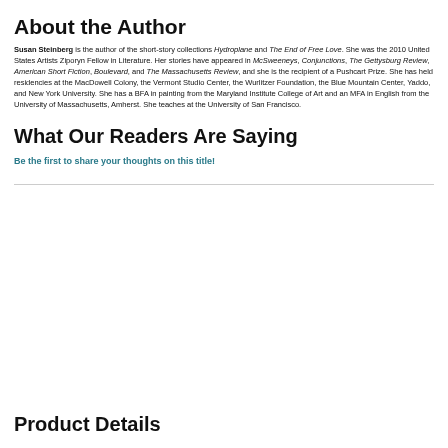About the Author
Susan Steinberg is the author of the short-story collections Hydroplane and The End of Free Love. She was the 2010 United States Artists Ziporyn Fellow in Literature. Her stories have appeared in McSweeneys, Conjunctions, The Gettysburg Review, American Short Fiction, Boulevard, and The Massachusetts Review, and she is the recipient of a Pushcart Prize. She has held residencies at the MacDowell Colony, the Vermont Studio Center, the Wurlitzer Foundation, the Blue Mountain Center, Yaddo, and New York University. She has a BFA in painting from the Maryland Institute College of Art and an MFA in English from the University of Massachusetts, Amherst. She teaches at the University of San Francisco.
What Our Readers Are Saying
Be the first to share your thoughts on this title!
Product Details